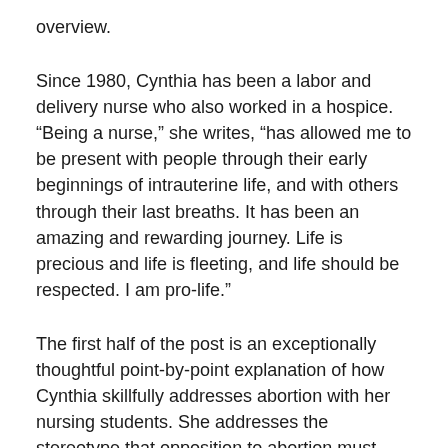overview.
Since 1980, Cynthia has been a labor and delivery nurse who also worked in a hospice. “Being a nurse,” she writes, “has allowed me to be present with people through their early beginnings of intrauterine life, and with others through their last breaths. It has been an amazing and rewarding journey. Life is precious and life is fleeting, and life should be respected. I am pro-life.”
The first half of the post is an exceptionally thoughtful point-by-point explanation of how Cynthia skillfully addresses abortion with her nursing students. She addresses the stereotype that opposition to abortion must be/can only be based on religious faith.